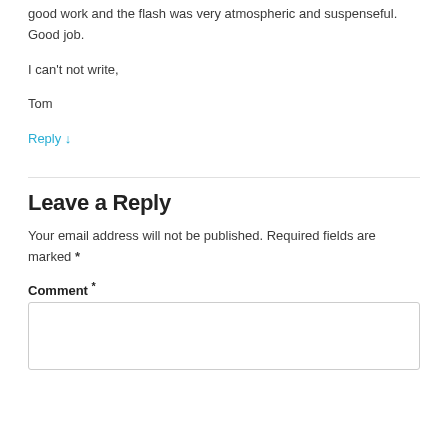good work and the flash was very atmospheric and suspenseful. Good job.
I can't not write,
Tom
Reply ↓
Leave a Reply
Your email address will not be published. Required fields are marked *
Comment *